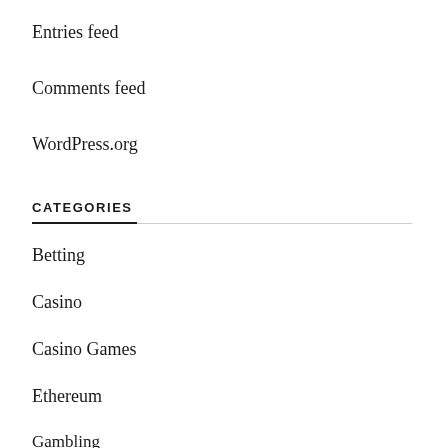Entries feed
Comments feed
WordPress.org
CATEGORIES
Betting
Casino
Casino Games
Ethereum
Gambling
Lottery